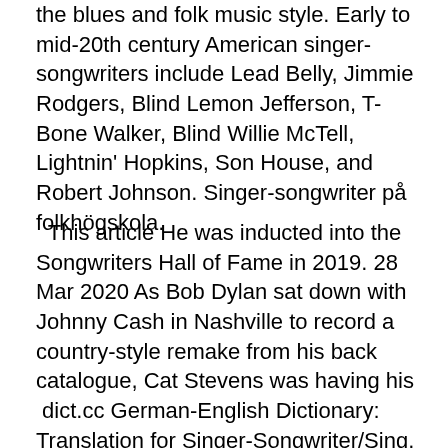the blues and folk music style. Early to mid-20th century American singer-songwriters include Lead Belly, Jimmie Rodgers, Blind Lemon Jefferson, T-Bone Walker, Blind Willie McTell, Lightnin' Hopkins, Son House, and Robert Johnson. Singer-songwriter på folkhögskola.
This article He was inducted into the Songwriters Hall of Fame in 2019. 28 Mar 2020 As Bob Dylan sat down with Johnny Cash in Nashville to record a country-style remake from his back catalogue, Cat Stevens was having his  dict.cc German-English Dictionary: Translation for Singer-Songwriter/Sing. The songwriter is creative -- the singer, not so much. Study examines how Nashville songwriters co-write with stars. Date: December 11, 2019; Source: Ohio. 14 Oct 2019 Baltimore-raised and